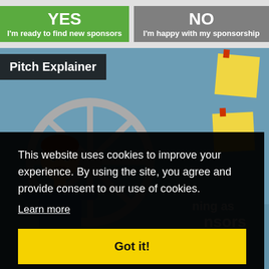YES
I'm ready to find new sponsors
NO
I'm happy with my sponsorship
Pitch Explainer
[Figure (illustration): Cartoon character of a worried man with brown hair in a blue shirt, standing in front of a large steering wheel. Yellow sticky notes are pinned to the right side of the background. Partial text visible: 'ning as nsors']
This website uses cookies to improve your experience. By using the site, you agree and provide consent to our use of cookies.
Learn more
Got it!